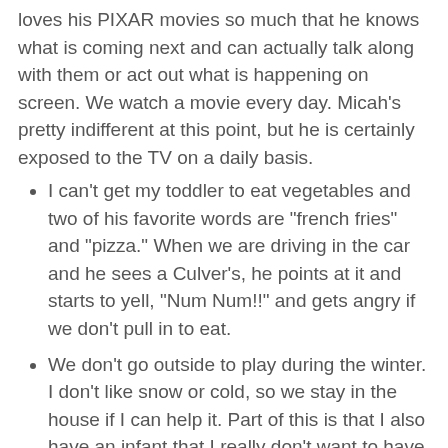loves his PIXAR movies so much that he knows what is coming next and can actually talk along with them or act out what is happening on screen. We watch a movie every day. Micah's pretty indifferent at this point, but he is certainly exposed to the TV on a daily basis.
I can't get my toddler to eat vegetables and two of his favorite words are "french fries" and "pizza." When we are driving in the car and he sees a Culver's, he points at it and starts to yell, "Num Num!!" and gets angry if we don't pull in to eat.
We don't go outside to play during the winter. I don't like snow or cold, so we stay in the house if I can help it. Part of this is that I also have an infant that I really don't want to have out in the freezing cold.
I allow my child to drink juice. Apparantly this is a big no-no now, but I do buy the Motts for Tots juice that has 40% less sugar than regular juice. He doesn't drink it constantly and I insist on water